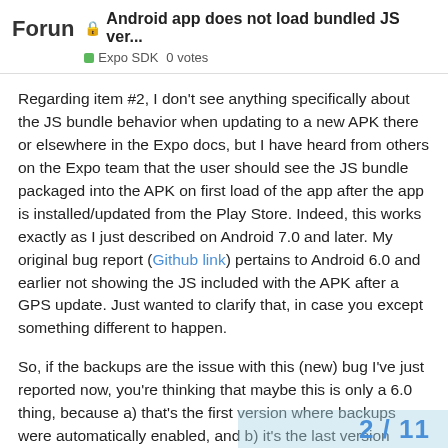Forun 🔒 Android app does not load bundled JS ver... Expo SDK 0 votes
Regarding item #2, I don't see anything specifically about the JS bundle behavior when updating to a new APK there or elsewhere in the Expo docs, but I have heard from others on the Expo team that the user should see the JS bundle packaged into the APK on first load of the app after the app is installed/updated from the Play Store. Indeed, this works exactly as I just described on Android 7.0 and later. My original bug report (Github link) pertains to Android 6.0 and earlier not showing the JS included with the APK after a GPS update. Just wanted to clarify that, in case you except something different to happen.
So, if the backups are the issue with this (new) bug I've just reported now, you're thinking that maybe this is only a 6.0 thing, because a) that's the first version where backups were automatically enabled, and b) it's the last version where Expo doesn't use the JS bundled with an APK update on first load?
2 / 11